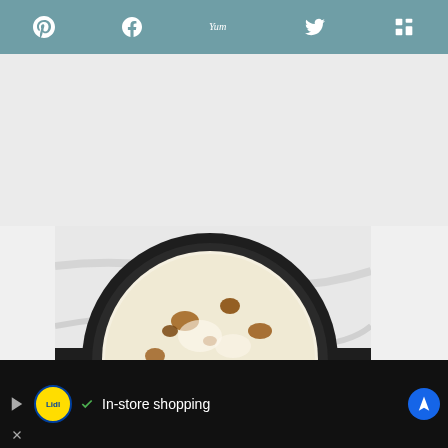Social share toolbar with Pinterest, Facebook, Yummly, Twitter, and Mix icons
[Figure (photo): Top-down photo of a cast iron skillet containing a bubbly baked white cheese dip with golden-brown spots on a white marble surface]
31.3K
WHAT'S NEXT → White Queso Dip Recipe
In-store shopping — Lidl advertisement banner